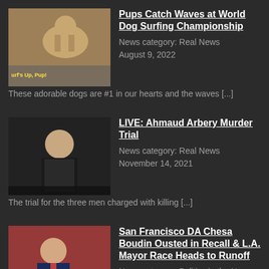[Figure (photo): Thumbnail image of a dog surfing with text overlay 'Surf's Up, Pup!']
Pups Catch Waves at World Dog Surfing Championship
News category: Real News
August 9, 2022
These adorable dogs are #1 in our hearts and the waves [...]
[Figure (photo): Thumbnail image of a judge or official in a courtroom setting]
LIVE: Ahmaud Arbery Murder Trial
News category: Real News
November 14, 2021
The trial for the three men charged with killing [...]
[Figure (photo): Thumbnail of a man in a suit with a news broadcast logo overlay 'DW!']
San Francisco DA Chesa Boudin Ousted in Recall & L.A. Mayor Race Heads to Runoff
News category: Politics in the News
June 9, 2022
Progressive San Francisco District Attorney Chesa [...]